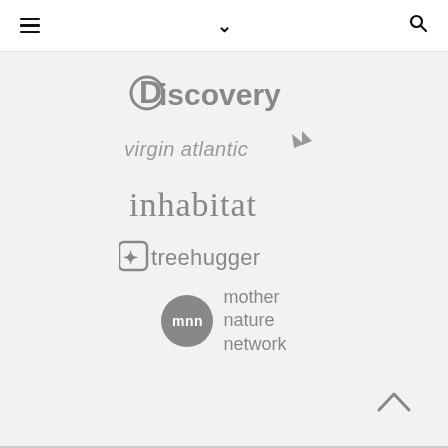[Figure (screenshot): Website navigation top bar with hamburger menu icon on left, chevron down in center, and search icon on right]
[Figure (logo): Discovery channel logo in gray]
[Figure (logo): Virgin Atlantic logo in gray with italic text and wing icon]
[Figure (logo): inhabitat logo in gray serif font]
[Figure (logo): Treehugger logo in gray with tree icon]
[Figure (logo): Mother Nature Network (mnn) logo with gray circle badge and text]